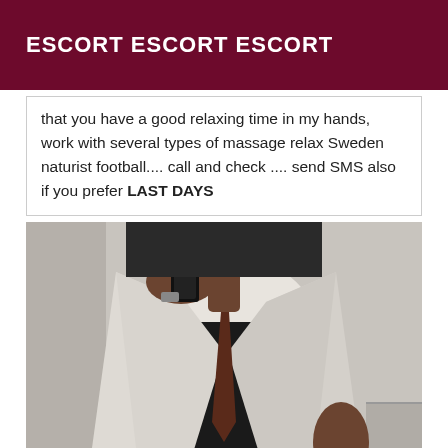ESCORT ESCORT ESCORT
that you have a good relaxing time in my hands, work with several types of massage relax Sweden naturist football.... call and check .... send SMS also if you prefer LAST DAYS
[Figure (photo): Mirror selfie of a person wearing a light-colored blazer/coat over dark clothing, taking photo with phone, headless from neck up, standing in front of a door.]